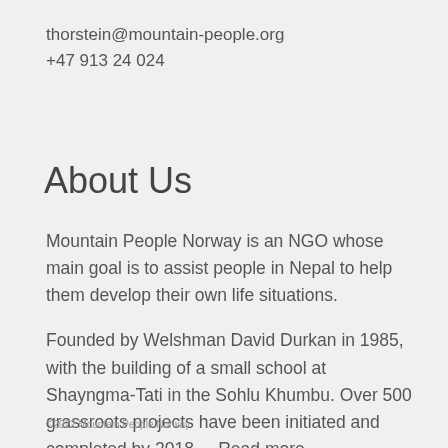thorstein@mountain-people.org
+47 913 24 024
About Us
Mountain People Norway is an NGO whose main goal is to assist people in Nepal to help them develop their own life situations.
Founded by Welshman David Durkan in 1985, with the building of a small school at Shayngma-Tati in the Sohlu Khumbu. Over 500 grassroots projects have been initiated and completed by 2018. ...Read more
©2022 Mountain People Norway